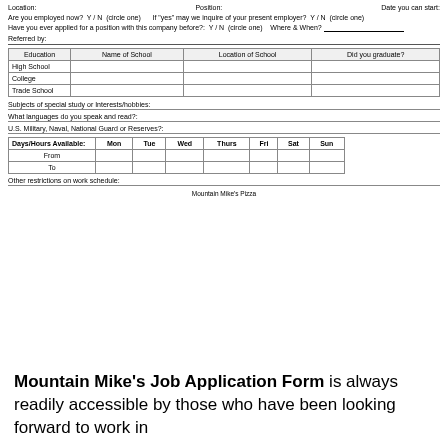Location:    Position:    Date you can start:
Are you employed now?  Y / N  (circle one)    If 'yes' may we inquire of your present employer?  Y / N  (circle one)
Have you ever applied for a position with this company before?:  Y / N  (circle one)    Where & When?
Referred by:
| Education | Name of School | Location of School | Did you graduate? |
| --- | --- | --- | --- |
| High School |  |  |  |
| College |  |  |  |
| Trade School |  |  |  |
Subjects of special study or Interests/hobbies:
What languages do you speak and read?:
U.S. Military, Naval, National Guard or Reserves?:
| Days/Hours Available: | Mon | Tue | Wed | Thurs | Fri | Sat | Sun |
| --- | --- | --- | --- | --- | --- | --- | --- |
| From |  |  |  |  |  |  |  |
| To |  |  |  |  |  |  |  |
Other restrictions on work schedule:
Mountain Mike's Pizza
Mountain Mike's Job Application Form is always readily accessible by those who have been looking forward to work in